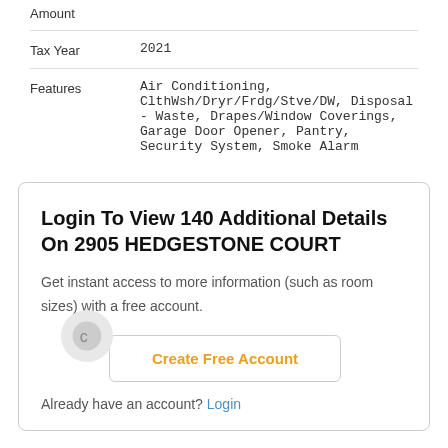| Field | Value |
| --- | --- |
| Amount |  |
| Tax Year | 2021 |
| Features | Air Conditioning, ClthWsh/Dryr/Frdg/Stve/DW, Disposal - Waste, Drapes/Window Coverings, Garage Door Opener, Pantry, Security System, Smoke Alarm |
Login To View 140 Additional Details On 2905 HEDGESTONE COURT
Get instant access to more information (such as room sizes) with a free account.
Create Free Account
Already have an account? Login